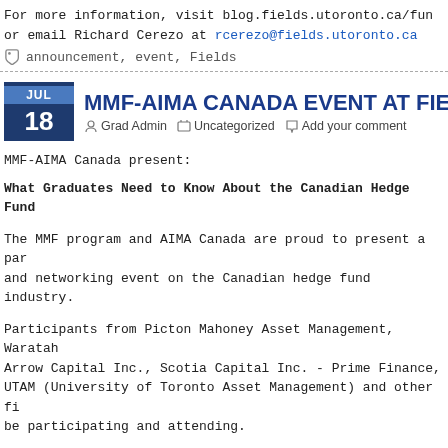For more information, visit blog.fields.utoronto.ca/fun or email Richard Cerezo at rcerezo@fields.utoronto.ca
announcement, event, Fields
MMF-AIMA CANADA EVENT AT FIELDS
Grad Admin   Uncategorized   Add your comment
MMF-AIMA Canada present:
What Graduates Need to Know About the Canadian Hedge Fund
The MMF program and AIMA Canada are proud to present a pan and networking event on the Canadian hedge fund industry.
Participants from Picton Mahoney Asset Management, Waratah Arrow Capital Inc., Scotia Capital Inc. - Prime Finance, UTAM (University of Toronto Asset Management) and other fi be participating and attending.
Topic: What graduates need to know about the Canadian hedg industry to succeed, as told by industry insiders.